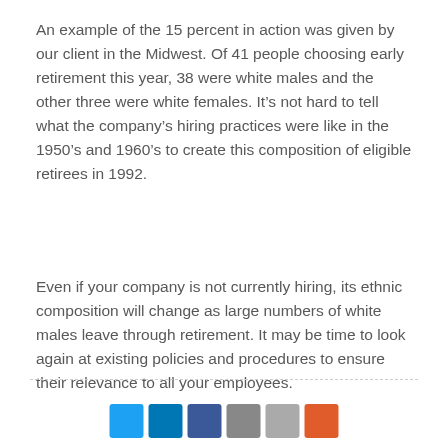An example of the 15 percent in action was given by our client in the Midwest. Of 41 people choosing early retirement this year, 38 were white males and the other three were white females. It’s not hard to tell what the company’s hiring practices were like in the 1950’s and 1960’s to create this composition of eligible retirees in 1992.
Even if your company is not currently hiring, its ethnic composition will change as large numbers of white males leave through retirement. It may be time to look again at existing policies and procedures to ensure their relevance to all your employees.